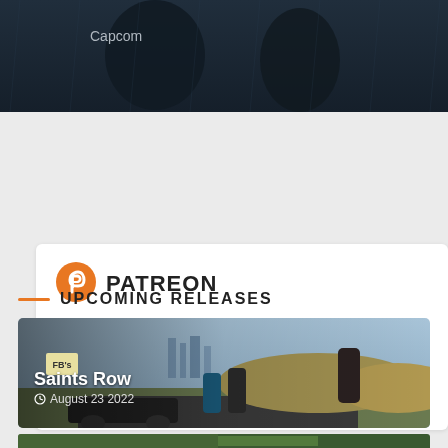[Figure (screenshot): Dark Capcom game screenshot showing characters in rain]
PATREON
$135 of $400 per month
[Figure (infographic): Progress bar showing Patreon funding at 31% ($135 of $400)]
Become a patron →
UPCOMING RELEASES
[Figure (photo): Saints Row game cover image showing characters on a road with a muscle car]
Saints Row — August 23 2022
[Figure (photo): Bottom strip of another upcoming game thumbnail]